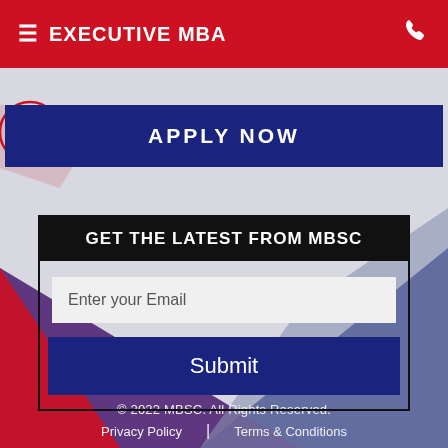≡ EXECUTIVE MBA
APPLY NOW
GET THE LATEST FROM MBSC
Enter your Email
Submit
© 2022 MBSC. All Rights Reserved.  Privacy Policy | Terms & Conditions